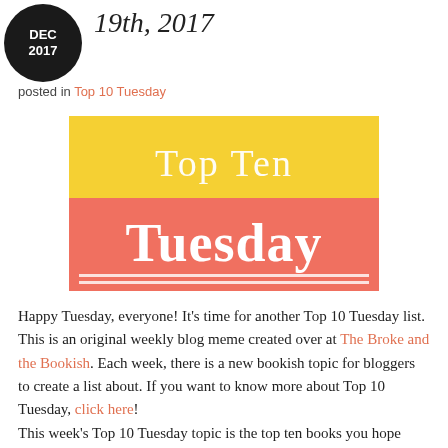19th, 2017
posted in Top 10 Tuesday
[Figure (logo): Top Ten Tuesday logo: yellow top half with white serif text 'Top Ten', salmon/coral bottom half with white serif text 'Tuesday', two white horizontal lines at bottom]
Happy Tuesday, everyone! It's time for another Top 10 Tuesday list. This is an original weekly blog meme created over at The Broke and the Bookish. Each week, there is a new bookish topic for bloggers to create a list about. If you want to know more about Top 10 Tuesday, click here!
This week's Top 10 Tuesday topic is the top ten books you hope